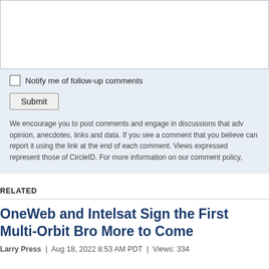[Figure (screenshot): Comment form textarea input box, white background]
Notify me of follow-up comments
[Figure (screenshot): Submit button]
We encourage you to post comments and engage in discussions that adv opinion, anecdotes, links and data. If you see a comment that you believe can report it using the link at the end of each comment. Views expressed represent those of CircleID. For more information on our comment policy,
RELATED
OneWeb and Intelsat Sign the First Multi-Orbit Bro More to Come
Larry Press | Aug 18, 2022 8:53 AM PDT | Views: 334